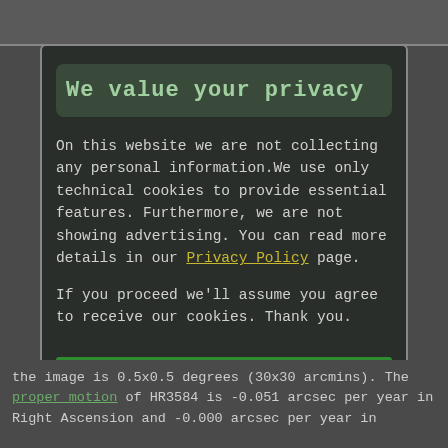We value your privacy
On this website we are not collecting any personal information.We use only technical cookies to provide essential features. Furthermore, we are not showing advertising. You can read more details in our Privacy Policy page.
If you proceed we'll assume you agree to receive our cookies. Thank you.
Proceed to TheSkyLive.com
the image is 0.5x0.5 degrees (30x30 arcmins). The proper motion of HR3584 is -0.051 arcsec per year in Right Ascension and -0.000 arcsec per year in